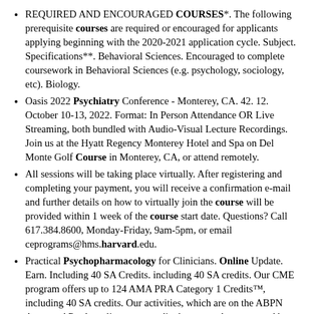REQUIRED AND ENCOURAGED COURSES*. The following prerequisite courses are required or encouraged for applicants applying beginning with the 2020-2021 application cycle. Subject. Specifications**. Behavioral Sciences. Encouraged to complete coursework in Behavioral Sciences (e.g. psychology, sociology, etc). Biology.
Oasis 2022 Psychiatry Conference - Monterey, CA. 42. 12. October 10-13, 2022. Format: In Person Attendance OR Live Streaming, both bundled with Audio-Visual Lecture Recordings. Join us at the Hyatt Regency Monterey Hotel and Spa on Del Monte Golf Course in Monterey, CA, or attend remotely.
All sessions will be taking place virtually. After registering and completing your payment, you will receive a confirmation e-mail and further details on how to virtually join the course will be provided within 1 week of the course start date. Questions? Call 617.384.8600, Monday-Friday, 9am-5pm, or email ceprograms@hms.harvard.edu.
Practical Psychopharmacology for Clinicians. Online Update. Earn. Including 40 SA Credits. including 40 SA credits. Our CME program offers up to 124 AMA PRA Category 1 Credits™, including 40 SA credits. Our activities, which are on the ABPN Approved Products list, are accredited, approved, or accepted by ACCME, ABPN, AMA, and ANCC.